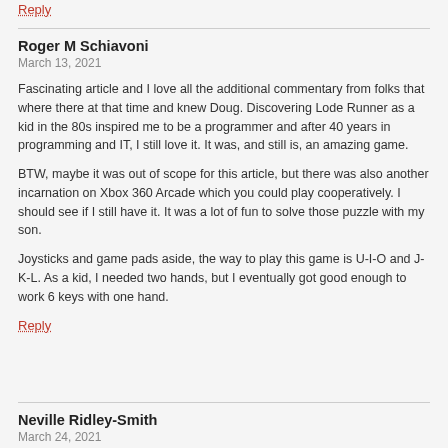Reply
Roger M Schiavoni
March 13, 2021
Fascinating article and I love all the additional commentary from folks that where there at that time and knew Doug. Discovering Lode Runner as a kid in the 80s inspired me to be a programmer and after 40 years in programming and IT, I still love it. It was, and still is, an amazing game.
BTW, maybe it was out of scope for this article, but there was also another incarnation on Xbox 360 Arcade which you could play cooperatively. I should see if I still have it. It was a lot of fun to solve those puzzle with my son.
Joysticks and game pads aside, the way to play this game is U-I-O and J-K-L. As a kid, I needed two hands, but I eventually got good enough to work 6 keys with one hand.
Reply
Neville Ridley-Smith
March 24, 2021